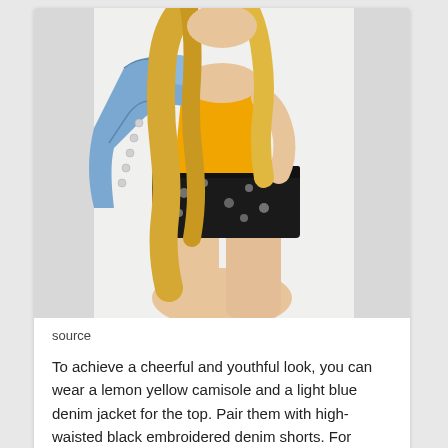[Figure (photo): A young woman with long wavy blonde hair wearing a yellow camisole top, holding a light blue denim jacket over her shoulder, and wearing black high-waisted embroidered denim shorts. Shot against a white/light background. Photo is cropped from chest/shoulder area down to thighs.]
source
To achieve a cheerful and youthful look, you can wear a lemon yellow camisole and a light blue denim jacket for the top. Pair them with high-waisted black embroidered denim shorts. For shoes, wear white sneakers to look youthful and